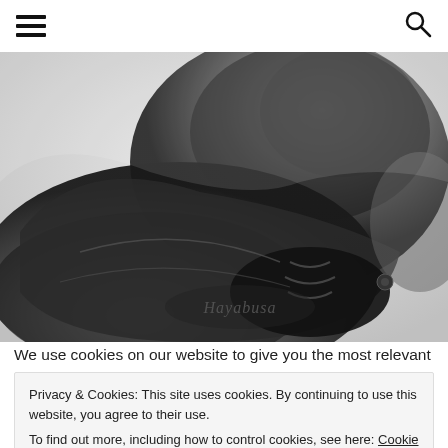Navigation bar with hamburger menu and search icon
[Figure (photo): Close-up black and white photograph of Hayabusa brand boxing gloves, showing the gloves crossed/overlapping with the Hayabusa logo visible on the wrist area]
We use cookies on our website to give you the most relevant
Privacy & Cookies: This site uses cookies. By continuing to use this website, you agree to their use.
To find out more, including how to control cookies, see here: Cookie Policy
Close and accept